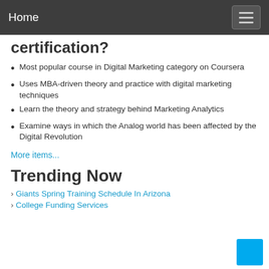Home
certification?
Most popular course in Digital Marketing category on Coursera
Uses MBA-driven theory and practice with digital marketing techniques
Learn the theory and strategy behind Marketing Analytics
Examine ways in which the Analog world has been affected by the Digital Revolution
More items...
Trending Now
Giants Spring Training Schedule In Arizona
College Funding Services